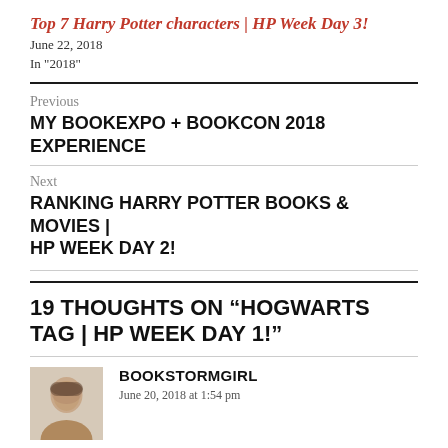Top 7 Harry Potter characters | HP Week Day 3!
June 22, 2018
In "2018"
Previous
MY BOOKEXPO + BOOKCON 2018 EXPERIENCE
Next
RANKING HARRY POTTER BOOKS & MOVIES | HP WEEK DAY 2!
19 THOUGHTS ON “HOGWARTS TAG | HP WEEK DAY 1!”
BOOKSTORMGIRL
June 20, 2018 at 1:54 pm
Ahhh, it’s started!!! Loved to see your answers (we would